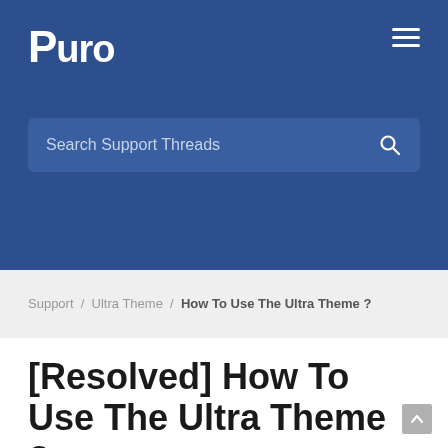[Figure (logo): Puro logo in white text on blue background header]
Search Support Threads
Support / Ultra Theme / How To Use The Ultra Theme ?
[Resolved] How To Use The Ultra Theme ?